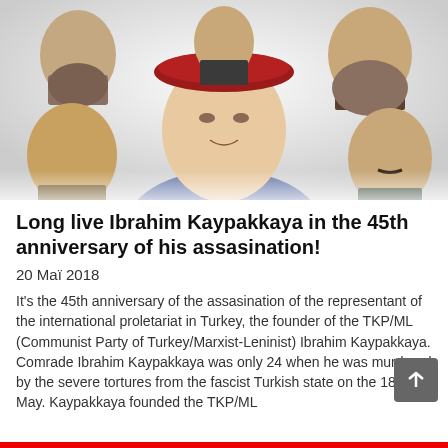[Figure (photo): Composite portrait image showing Ibrahim Kaypakkaya in the center wearing a red beret, surrounded by portraits of communist historical figures including Mao Zedong (left), Lenin (top center), Karl Marx (top right), an unidentified figure (top left), and Stalin (right).]
Long live Ibrahim Kaypakkaya in the 45th anniversary of his assasination!
20 Maï 2018
It's the 45th anniversary of the assasination of the representant of the international proletariat in Turkey, the founder of the TKP/ML (Communist Party of Turkey/Marxist-Leninist) Ibrahim Kaypakkaya. Comrade Ibrahim Kaypakkaya was only 24 when he was murdered by the severe tortures from the fascist Turkish state on the 18th of May. Kaypakkaya founded the TKP/ML